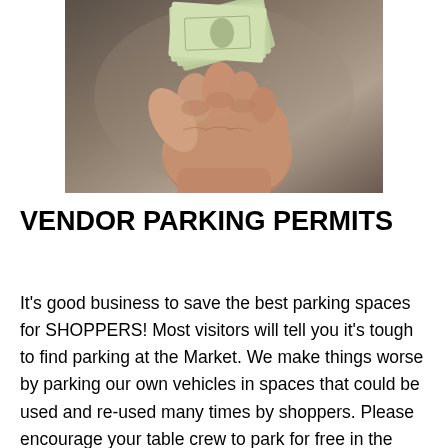[Figure (photo): A hand holding a fan of dollar bills, photographed from below against a dark background]
VENDOR PARKING PERMITS
It's good business to save the best parking spaces for SHOPPERS! Most visitors will tell you it's tough to find parking at the Market. We make things worse by parking our own vehicles in spaces that could be used and re-used many times by shoppers. Please encourage your table crew to park for free in the Lumberyard Parking Garage (just across Collings Avenue from the west